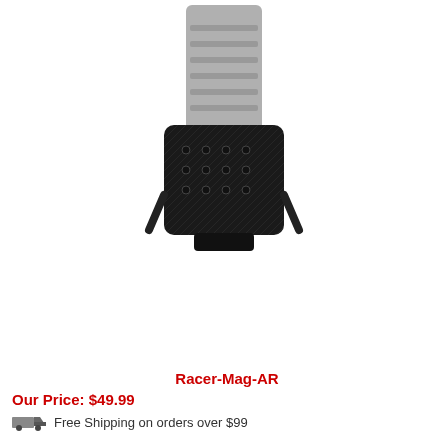[Figure (photo): Top-down cropped view of an AR magazine partially inserted into a black carbon fiber patterned Kydex magazine carrier/holster with multiple screws visible]
Racer-Mag-AR
Our Price: $49.99
Free Shipping on orders over $99
[Figure (photo): Full view of a gray AR magazine inserted into a black carbon fiber patterned Kydex magazine carrier/holster with multiple screws visible, shown from the front]